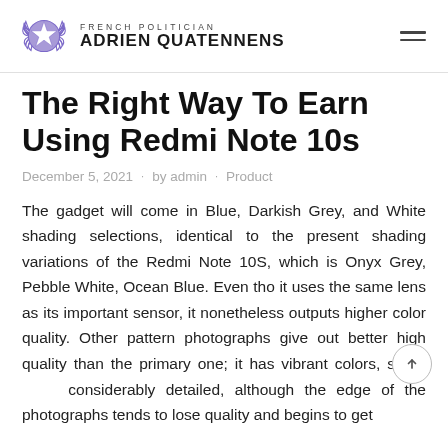FRENCH POLITICIAN ADRIEN QUATENNENS
The Right Way To Earn Using Redmi Note 10s
December 5, 2021 · by admin · Product
The gadget will come in Blue, Darkish Grey, and White shading selections, identical to the present shading variations of the Redmi Note 10S, which is Onyx Grey, Pebble White, Ocean Blue. Even tho it uses the same lens as its important sensor, it nonetheless outputs higher color quality. Other pattern photographs give out better high quality than the primary one; it has vibrant colors, sharp considerably detailed, although the edge of the photographs tends to lose quality and begins to get